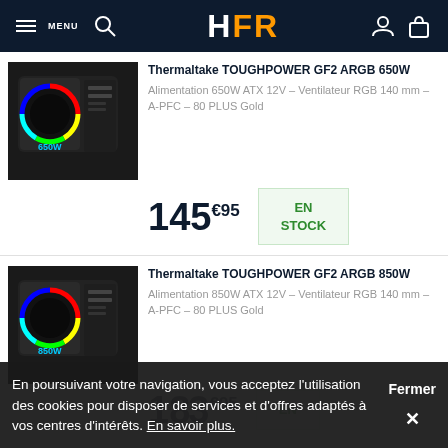HFR
[Figure (photo): Thermaltake TOUGHPOWER GF2 ARGB 650W power supply unit, black with RGB fan]
Thermaltake TOUGHPOWER GF2 ARGB 650W
Alimentation 650W ATX 12V - Ventilateur RGB 140 mm - A-PFC - 80 PLUS Gold
145€95
EN STOCK
[Figure (photo): Thermaltake TOUGHPOWER GF2 ARGB 850W power supply unit, black with RGB fan]
Thermaltake TOUGHPOWER GF2 ARGB 850W
Alimentation 850W ATX 12V - Ventilateur RGB 140 mm - A-PFC - 80 PLUS Gold
EN
En poursuivant votre navigation, vous acceptez l'utilisation des cookies pour disposer de services et d'offres adaptés à vos centres d'intérêts. En savoir plus.
Fermer ×